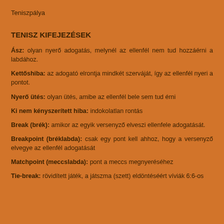Teniszpálya
TENISZ KIFEJEZÉSEK
Ász: olyan nyerő adogatás, melynél az ellenfél nem tud hozzáérni a labdához.
Kettőshiba: az adogató elrontja mindkét szerváját, így az ellenfél nyeri a pontot.
Nyerő ütés: olyan ütés, amibe az ellenfél bele sem tud érni
Ki nem kényszerített hiba: indokolatlan rontás
Break (brék): amikor az egyik versenyző elveszi ellenfele adogatását.
Breakpoint (bréklabda): csak egy pont kell ahhoz, hogy a versenyző elvegye az ellenfél adogatását
Matchpoint (meccslabda): pont a meccs megnyeréséhez
Tie-break: rövidített játék, a játszma (szett) eldöntéséért víviák 6:6-os